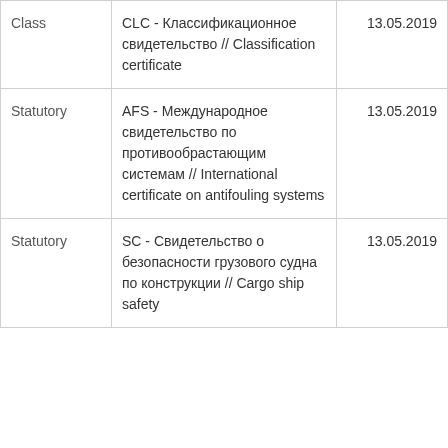| Type | Certificate | Date |
| --- | --- | --- |
| Class | CLC - Классификационное свидетельство // Classification certificate | 13.05.2019 |
| Statutory | AFS - Международное свидетельство по противообрастающим системам // International certificate on antifouling systems | 13.05.2019 |
| Statutory | SC - Свидетельство о безопасности грузового судна по конструкции // Cargo ship safety | 13.05.2019 |